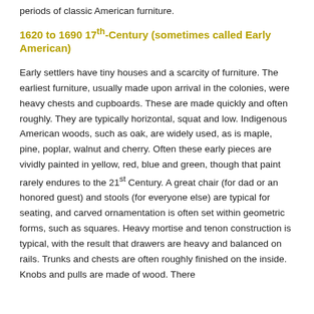periods of classic American furniture.
1620 to 1690 17th-Century (sometimes called Early American)
Early settlers have tiny houses and a scarcity of furniture. The earliest furniture, usually made upon arrival in the colonies, were heavy chests and cupboards. These are made quickly and often roughly. They are typically horizontal, squat and low. Indigenous American woods, such as oak, are widely used, as is maple, pine, poplar, walnut and cherry. Often these early pieces are vividly painted in yellow, red, blue and green, though that paint rarely endures to the 21st Century. A great chair (for dad or an honored guest) and stools (for everyone else) are typical for seating, and carved ornamentation is often set within geometric forms, such as squares. Heavy mortise and tenon construction is typical, with the result that drawers are heavy and balanced on rails. Trunks and chests are often roughly finished on the inside. Knobs and pulls are made of wood. There